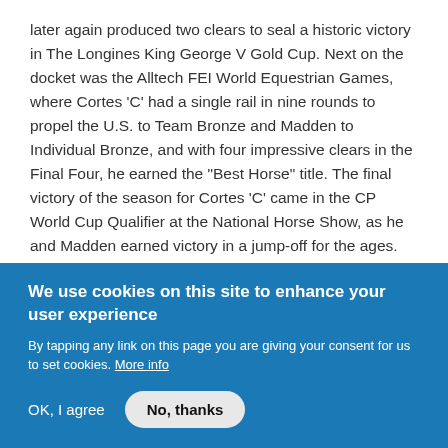later again produced two clears to seal a historic victory in The Longines King George V Gold Cup. Next on the docket was the Alltech FEI World Equestrian Games, where Cortes 'C' had a single rail in nine rounds to propel the U.S. to Team Bronze and Madden to Individual Bronze, and with four impressive clears in the Final Four, he earned the "Best Horse" title. The final victory of the season for Cortes 'C' came in the CP World Cup Qualifier at the National Horse Show, as he and Madden earned victory in a jump-off for the ages.
"He's a horse I've believed in from the very beginning," said Madden. "I'm so glad he got his year to shine."
We use cookies on this site to enhance your user experience
By tapping any link on this page you are giving your consent for us to set cookies. More info
OK, I agree
No, thanks